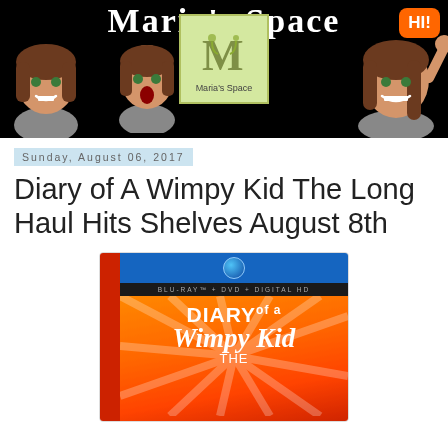[Figure (illustration): Maria's Space blog header banner with black background, animated bitmoji characters, question marks, a logo box with 'Maria's Space' text, and an orange 'HI!' speech bubble]
Sunday, August 06, 2017
Diary of A Wimpy Kid The Long Haul Hits Shelves August 8th
[Figure (photo): Diary of a Wimpy Kid The Long Haul Blu-ray + DVD + Digital HD case cover with orange starburst background]